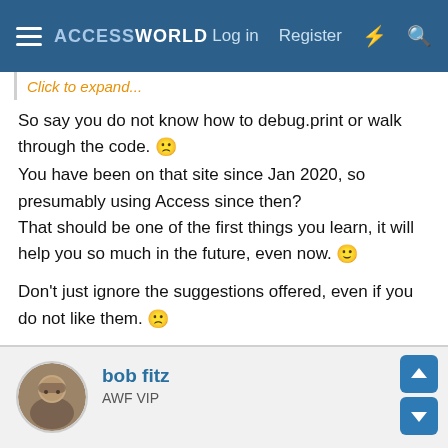ACCESSWORLD  Log in  Register
Click to expand...
So say you do not know how to debug.print or walk through the code. 🙁 You have been on that site since Jan 2020, so presumably using Access since then? That should be one of the first things you learn, it will help you so much in the future, even now. 🙂
Don't just ignore the suggestions offered, even if you do not like them. 🙁
bob fitz
AWF VIP
Apr 29, 2022  #9
Tiprof said: